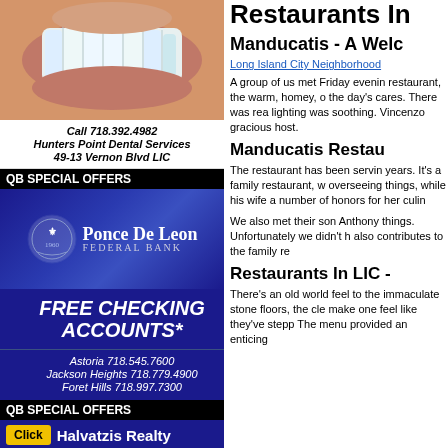[Figure (photo): Close-up photo of a person's smile showing teeth]
Call 718.392.4982
Hunters Point Dental Services
49-13 Vernon Blvd LIC
QB SPECIAL OFFERS
[Figure (logo): Ponce De Leon Federal Bank advertisement with logo and blue background]
FREE CHECKING ACCOUNTS*
Astoria 718.545.7600
Jackson Heights 718.779.4900
Foret Hills 718.997.7300
QB SPECIAL OFFERS
Click  Halvatzis Realty
SOLD $960,000
Restaurants In
Manducatis - A Welc
Long Island City Neighborhood
A group of us met Friday evenin restaurant, the warm, homey, o the day's cares. There was rea lighting was soothing. Vincenzo gracious host.
Manducatis Restau
The restaurant has been servin years. It's a family restaurant, w overseeing things, while his wife a number of honors for her culin
We also met their son Anthony things. Unfortunately we didn't h also contributes to the family re
Restaurants In LIC -
There's an old world feel to the immaculate stone floors, the cle make one feel like they've stepp The menu provided an enticing